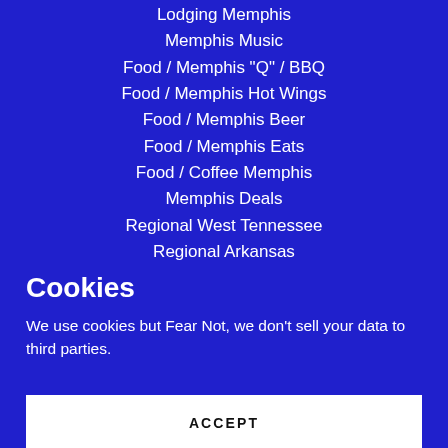Lodging Memphis
Memphis Music
Food / Memphis "Q" / BBQ
Food / Memphis Hot Wings
Food / Memphis Beer
Food / Memphis Eats
Food / Coffee Memphis
Memphis Deals
Regional West Tennessee
Regional Arkansas
Cookies
We use cookies but Fear Not, we don't sell your data to third parties.
ACCEPT